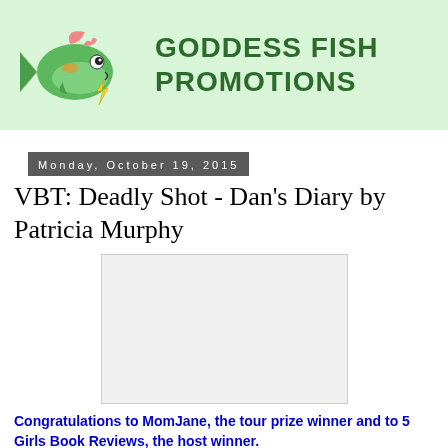[Figure (logo): Goddess Fish Promotions logo with animated fish character holding a lightning bolt and text 'GODDESS FISH PROMOTIONS' on green background]
Monday, October 19, 2015
VBT: Deadly Shot - Dan's Diary by Patricia Murphy
[Figure (photo): Book cover image placeholder for Deadly Shot - Dan's Diary by Patricia Murphy]
Congratulations to MomJane, the tour prize winner and to 5 Girls Book Reviews, the host winner.
Goddess Fish Promotions the premier Virtual Book Tour...